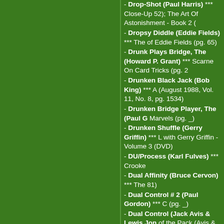- Drop-Shot (Paul Harris) *** Close-Up 52); The Art Of Astonishment - Book 2 (
- Dropsy Diddle (Eddie Fields) *** The of Eddie Fields (pg. 65)
- Drunk Plays Bridge, The (Howard P. Grant) *** Scarne On Card Tricks (pg. 2
- Drunken Black Jack (Bob King) *** A (August 1988, Vol. 11, No. 8, pg. 1534)
- Drunken Bridge Player, The (Paul G Marvels (pg. _)
- Drunken Shuffle (Gerry Griffin) *** L with Gerry Griffin - Volume 3 (DVD)
- DU/Process (Karl Fulves) *** Crooke
- Dual Affinity (Bruce Cervon) *** The 81)
- Dual Control # 2 (Paul Gordon) *** C (pg. _)
- Dual Control (Jack Avis & Lewis Jon of the Pack (Avis & Jones, pg. 146)
- Dual Cyclone (Paul Knight) *** Marko (manuscript)
- Dual Discovery (Frank Garcia) *** M Secrets (pg. 65)
- Dual Sympathy (Ted Annemann) *** secret (pg. 28); Encyclopedia of Card Tr pg. 213)
- Dubai Roulette (Stephen Jones...